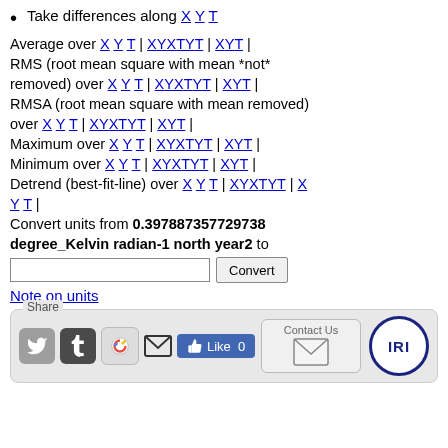Take differences along X Y T
Average over X Y T | X Y X T Y T | X Y T | RMS (root mean square with mean *not* removed) over X Y T | X Y X T Y T | X Y T | RMSA (root mean square with mean removed) over X Y T | X Y X T Y T | X Y T | Maximum over X Y T | X Y X T Y T | X Y T | Minimum over X Y T | X Y X T Y T | X Y T | Detrend (best-fit-line) over X Y T | X Y X T Y T | X Y T | Convert units from 0.397887357729738 degree_Kelvin radian-1 north year2 to [input] [Convert]
Note on units
[Figure (other): Share bar with Twitter, Tumblr, Google+, Email, Facebook Like buttons, Contact Us box, and IRI logo]